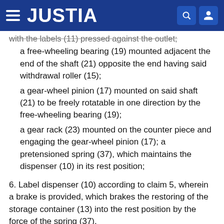JUSTIA
with the labels (11) pressed against the outlet;
a free-wheeling bearing (19) mounted adjacent the end of the shaft (21) opposite the end having said withdrawal roller (15);
a gear-wheel pinion (17) mounted on said shaft (21) to be freely rotatable in one direction by the free-wheeling bearing (19);
a gear rack (23) mounted on the counter piece and engaging the gear-wheel pinion (17); a pretensioned spring (37), which maintains the dispenser (10) in its rest position;
6. Label dispenser (10) according to claim 5, wherein a brake is provided, which brakes the restoring of the storage container (13) into the rest position by the force of the spring (37).
7. Label dispenser (10) according to claim 6, wherein